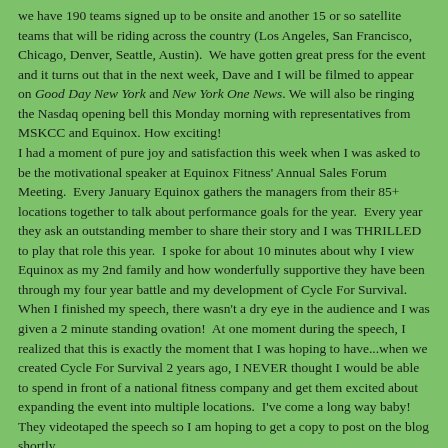we have 190 teams signed up to be onsite and another 15 or so satellite teams that will be riding across the country (Los Angeles, San Francisco, Chicago, Denver, Seattle, Austin).  We have gotten great press for the event and it turns out that in the next week, Dave and I will be filmed to appear on Good Day New York and New York One News. We will also be ringing the Nasdaq opening bell this Monday morning with representatives from MSKCC and Equinox. How exciting!
I had a moment of pure joy and satisfaction this week when I was asked to be the motivational speaker at Equinox Fitness' Annual Sales Forum Meeting.  Every January Equinox gathers the managers from their 85+ locations together to talk about performance goals for the year.  Every year they ask an outstanding member to share their story and I was THRILLED to play that role this year.  I spoke for about 10 minutes about why I view Equinox as my 2nd family and how wonderfully supportive they have been through my four year battle and my development of Cycle For Survival. When I finished my speech, there wasn't a dry eye in the audience and I was given a 2 minute standing ovation!  At one moment during the speech, I realized that this is exactly the moment that I was hoping to have...when we created Cycle For Survival 2 years ago, I NEVER thought I would be able to spend in front of a national fitness company and get them excited about expanding the event into multiple locations.  I've come a long way baby!  They videotaped the speech so I am hoping to get a copy to post on the blog shortly.
I visited one of my favorite cycling classes this week and the instructor Matt declared that his motto for 2009 is 2009...and Feeling Fine!  I loved it and decided to take it on as my own mantra for the year.  I am praying and hoping that 2009 is the year that I continue to feel great and the year that I finally kick cancer's butt.